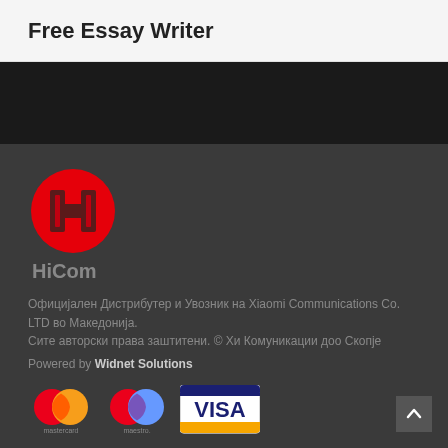Free Essay Writer
[Figure (other): Dark banner image strip]
[Figure (logo): HiCom logo: red circle with H letter mark]
HiCom
Официјален Дистрибутер и Увозник на Xiaomi Communications Co. LTD во Македонија. Сите авторски права заштитени. © Хи Комуникации дoo Скопје
Powered by Widnet Solutions
[Figure (other): Payment icons: Mastercard, Maestro, Visa]